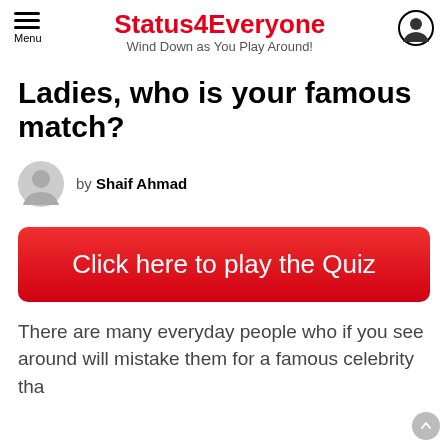Status4Everyone — Wind Down as You Play Around!
Ladies, who is your famous match?
by Shaif Ahmad
[Figure (other): Red button: Click here to play the Quiz]
There are many everyday people who if you see around will mistake them for a famous celebrity that